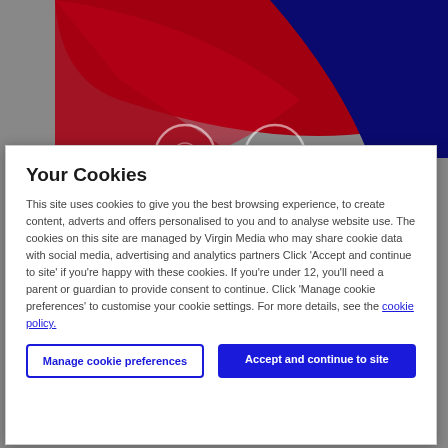[Figure (screenshot): Virgin Media branded banner with red and dark navy blue curved shapes and partial circular logo icons visible at the bottom center.]
Your Cookies
This site uses cookies to give you the best browsing experience, to create content, adverts and offers personalised to you and to analyse website use. The cookies on this site are managed by Virgin Media who may share cookie data with social media, advertising and analytics partners Click 'Accept and continue to site' if you're happy with these cookies. If you're under 12, you'll need a parent or guardian to provide consent to continue. Click 'Manage cookie preferences' to customise your cookie settings. For more details, see the cookie policy.
Manage cookie preferences
Accept and continue to site